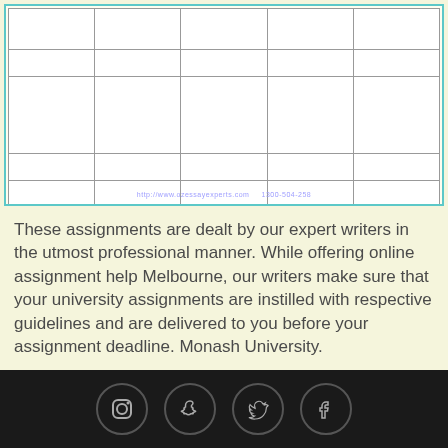[Figure (table-as-image): Partially visible table with teal border, multiple rows and columns, white cells with gray borders, watermark text at bottom]
These assignments are dealt by our expert writers in the utmost professional manner. While offering online assignment help Melbourne, our writers make sure that your university assignments are instilled with respective guidelines and are delivered to you before your assignment deadline. Monash University.
Academic Writing Coupon Codes Cheap Reliable Essay Writing Service Hot Discount Codes Sitemap United Kingdom Promo Codes
[Figure (illustration): Black footer bar with four social media icons in circular borders: Instagram, Snapchat, Twitter, Facebook]